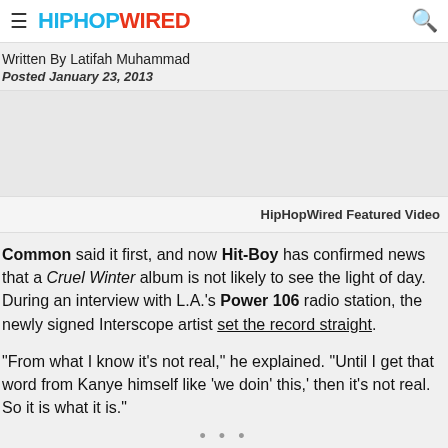HIPHOPWIRED
Written By Latifah Muhammad
Posted January 23, 2013
[Figure (other): Advertisement / blank gray area]
HipHopWired Featured Video
Common said it first, and now Hit-Boy has confirmed news that a Cruel Winter album is not likely to see the light of day. During an interview with L.A.'s Power 106 radio station, the newly signed Interscope artist set the record straight.
“From what I know it’s not real,” he explained. “Until I get that word from Kanye himself like ‘we doin’ this,’ then it’s not real. So it is what it is.”